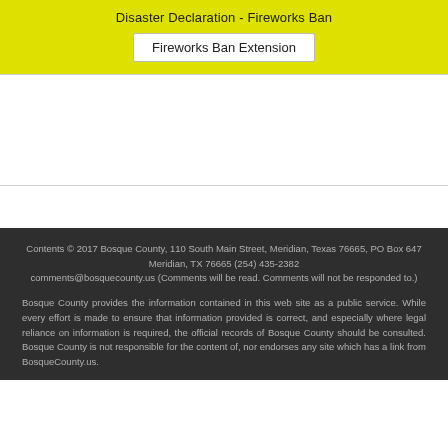Disaster Declaration - Fireworks Ban
Fireworks Ban Extension
Contents © 2017 Bosque County, 110 South Main Street, Meridian, Texas 76665, PO Box 647 Meridian, TX 76665 (254) 435-2382 comments@bosquecounty.us (Comments will be read. Comments will not be responded to.)
Bosque County provides the information contained in this web site as a public service. While every effort is made to ensure that information provided is correct, and especially where legal reliance on information is required, the official records of Bosque County should be consulted. Bosque County is not responsible for the content of, nor endorses any site which has a link from BosqueCounty.us.